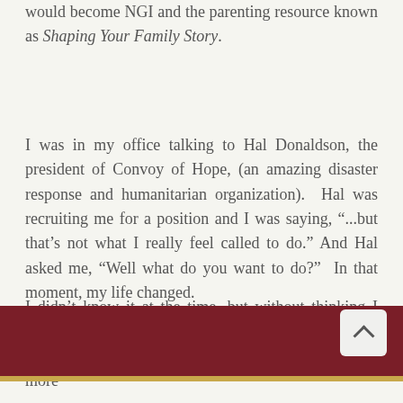would become NGI and the parenting resource known as Shaping Your Family Story.
I was in my office talking to Hal Donaldson, the president of Convoy of Hope, (an amazing disaster response and humanitarian organization). Hal was recruiting me for a position and I was saying, “...but that’s not what I really feel called to do.” And Hal asked me, “Well what do you want to do?” In that moment, my life changed.
I didn’t know it at the time, but without thinking I started outlining to Hal this vision for a relevant, helpful, authentic organization that would... Read more